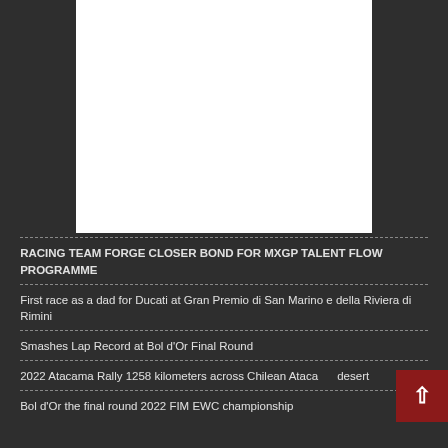[Figure (photo): White rectangular image placeholder area on dark background]
RACING TEAM FORGE CLOSER BOND FOR MXGP TALENT FLOW PROGRAMME
First race as a dad for Ducati at Gran Premio di San Marino e della Riviera di Rimini
Smashes Lap Record at Bol d'Or Final Round
2022 Atacama Rally 1258 kilometers across Chilean Atacama desert
Bol d'Or the final round 2022 FIM EWC championship